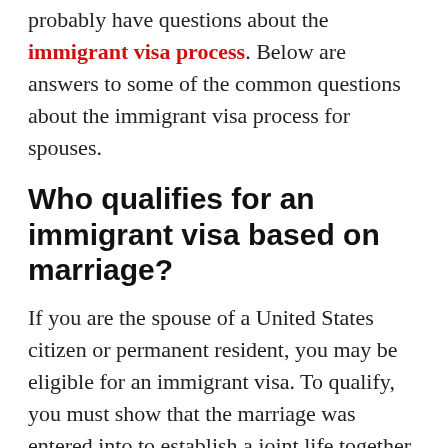probably have questions about the immigrant visa process. Below are answers to some of the common questions about the immigrant visa process for spouses.
Who qualifies for an immigrant visa based on marriage?
If you are the spouse of a United States citizen or permanent resident, you may be eligible for an immigrant visa. To qualify, you must show that the marriage was entered into to establish a joint life together as husband and wife. In addition, it is very important to review the grounds of